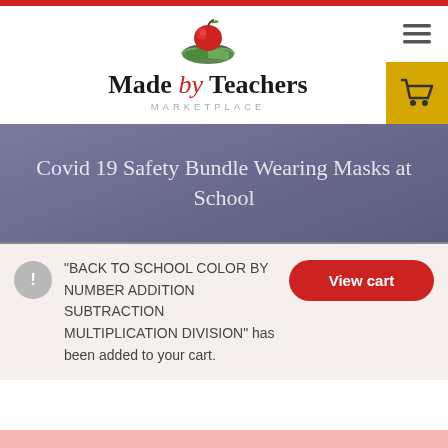[Figure (logo): Made by Teachers Marketplace logo with red apple on green book and text]
Covid 19 Safety Bundle Wearing Masks at School
"BACK TO SCHOOL COLOR BY NUMBER ADDITION SUBTRACTION MULTIPLICATION DIVISION" has been added to your cart.